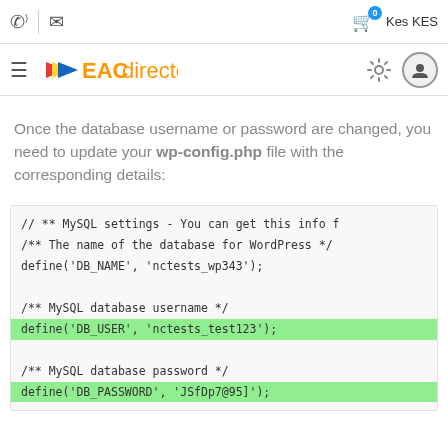phone | email | cart 0 | Kes KES
≡ EACdirectory [gear] [user]
Once the database username or password are changed, you need to update your wp-config.php file with the corresponding details:
// ** MySQL settings - You can get this info f
/** The name of the database for WordPress */
define('DB_NAME', 'nctests_wp343');

/** MySQL database username */
define('DB_USER', 'nctests_test123');

/** MySQL database password */
define('DB_PASSWORD', 'JSfDp7@95]');